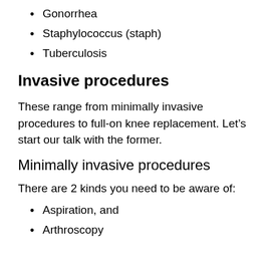Gonorrhea
Staphylococcus (staph)
Tuberculosis
Invasive procedures
These range from minimally invasive procedures to full-on knee replacement. Let’s start our talk with the former.
Minimally invasive procedures
There are 2 kinds you need to be aware of:
Aspiration, and
Arthroscopy